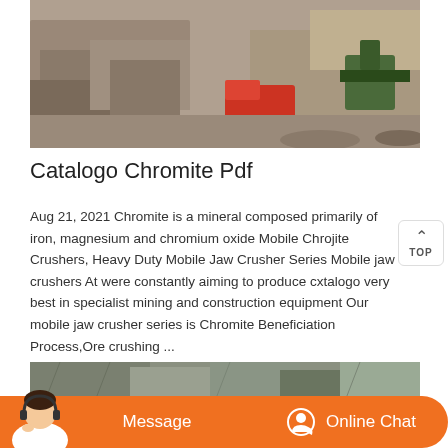[Figure (photo): Aerial view of an open-pit mining site with heavy machinery including a red truck and green equipment working among large rock formations]
Catalogo Chromite Pdf
Aug 21, 2021 Chromite is a mineral composed primarily of iron, magnesium and chromium oxide Mobile Chrojite Crushers, Heavy Duty Mobile Jaw Crusher Series Mobile jaw crushers At were constantly aiming to produce cxtalogo very best in specialist mining and construction equipment Our mobile jaw crusher series is Chromite Beneficiation Process,Ore crushing ...
[Figure (photo): Close-up view of rocky cliff face or stone quarry wall with textured rock surfaces]
Message
Online Chat